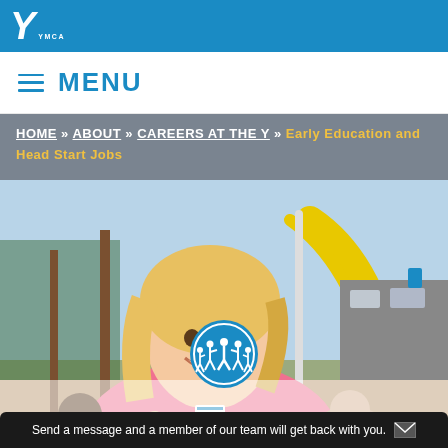the Y YMCA
MENU
HOME » ABOUT » CAREERS AT THE Y » Early Education and Head Start Jobs
[Figure (photo): Young smiling blonde woman in a pink shirt with a YMCA name tag, leaning forward on playground equipment with children around her. Yellow playground slide visible in background.]
[Figure (logo): YMCA circular logo with blue background and white people figures holding hands]
EARLY EDUCATION AND
Send a message and a member of our team will get back with you.